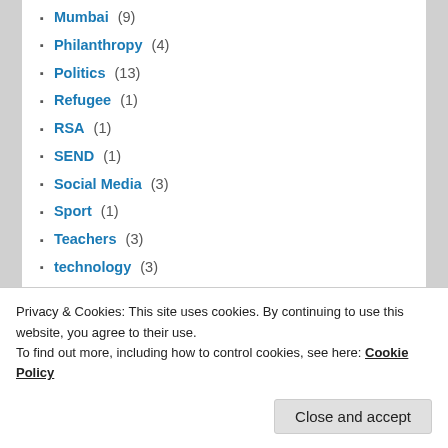Mumbai (9)
Philanthropy (4)
Politics (13)
Refugee (1)
RSA (1)
SEND (1)
Social Media (3)
Sport (1)
Teachers (3)
technology (3)
Terrorism (3)
The Social Capital (4)
Trade & Investment (13)
Uncategorized (59)
Varkey Foundation (2)
Privacy & Cookies: This site uses cookies. By continuing to use this website, you agree to their use. To find out more, including how to control cookies, see here: Cookie Policy